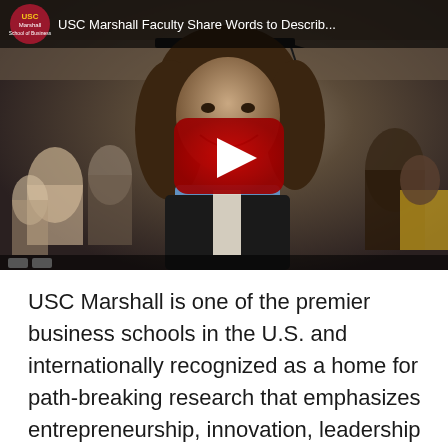[Figure (screenshot): YouTube video thumbnail showing a smiling female graduate in cap and gown with a play button overlay. Video title reads 'USC Marshall Faculty Share Words to Describ...' with the USC Marshall School of Business logo in top left corner.]
USC Marshall is one of the premier business schools in the U.S. and internationally recognized as a home for path-breaking research that emphasizes entrepreneurship, innovation, leadership and social responsibility. The USC